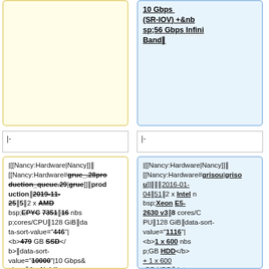(top-left cell: empty yellow cell)
10 Gbps (SR‑IOV) + 56 Gbps InfiniBand‖
|-
|-
|[[Nancy:Hardware|Nancy]]‖[[Nancy:Hardware#grue_.28production_queue.29|grue]]‖prod uction‖2019-11-25‖5‖2 x AMD EPYC 7351‖16 cores/CPU‖128 GiB‖data-sort-value="446"| <b>479 GB SSD</b>‖data-sort-value="10000"|10 Gbps‖4 x Nvidia Tesla T4
|[[Nancy:Hardware|Nancy]]‖[[Nancy:Hardware#grisou|grisou]]‖‖‖2016-01-04‖51‖2 x Intel Xeon E5-2630 v3‖8 cores/CPU‖128 GiB‖data-sort-value="1116"| <b>1 x 600 GB HDD</b> + 1 x 600 GB HDD‖data-sort-value="41000"|[1-48]: 1 Gbps +